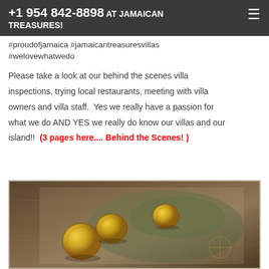+1 954 842-8898 AT JAMAICAN TREASURES!
#proudofjamaica #jamaicantreasuresvillas #welovewhatwedo
Please take a look at our behind the scenes villa inspections, trying local restaurants, meeting with villa owners and villa staff.  Yes we really have a passion for what we do AND YES we really do know our villas and our island!!  (3 pages here.... Behind the Scenes! )
[Figure (photo): Gold coins resting on an old treasure map with muted green and brown tones]